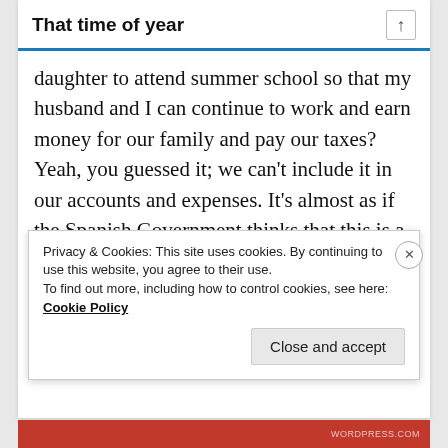That time of year
daughter to attend summer school so that my husband and I can continue to work and earn money for our family and pay our taxes? Yeah, you guessed it; we can’t include it in our accounts and expenses. It’s almost as if the Spanish Government thinks that this is a luxury. It’s almost as if the Spanish Government thinks that the woman should stay at home and look after the children . . . ah, hang on a minute. . . Let’s start a
Privacy & Cookies: This site uses cookies. By continuing to use this website, you agree to their use.
To find out more, including how to control cookies, see here: Cookie Policy
Close and accept